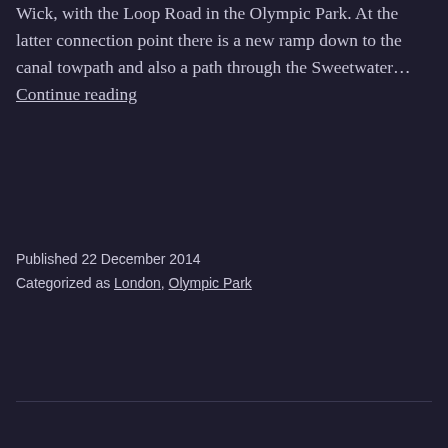Wick, with the Loop Road in the Olympic Park. At the latter connection point there is a new ramp down to the canal towpath and also a path through the Sweetwater… Continue reading
Published 22 December 2014
Categorized as London, Olympic Park